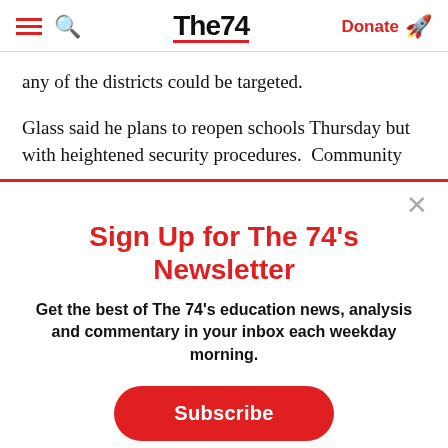The74 | Donate
any of the districts could be targeted.
Glass said he plans to reopen schools Thursday but with heightened security procedures. Community
Sign Up for The 74's Newsletter
Get the best of The 74's education news, analysis and commentary in your inbox each weekday morning.
Subscribe